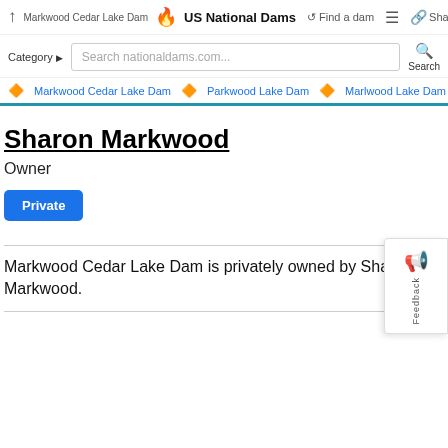↑ Markwood Cedar Lake Dam | US National Dams | ↺ Find a dam | ☰ | 🔗 Share
Category ▶  Search nationaldams.com...  Search
🔶 Markwood Cedar Lake Dam  🔶 Parkwood Lake Dam  🔶 Marlwood Lake Dam  🔶 Packwood Lake D…
Sharon Markwood
Owner
Private
Markwood Cedar Lake Dam is privately owned by Sharon Markwood.